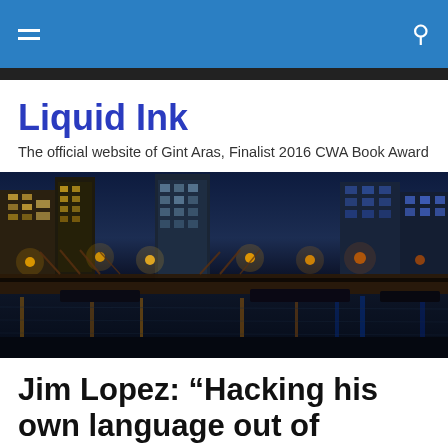Liquid Ink – navigation header with hamburger menu and search icon
Liquid Ink
The official website of Gint Aras, Finalist 2016 CWA Book Award
[Figure (photo): Night cityscape of Chicago river with bridges, skyscrapers lit up with golden lights, water reflections, blue tones on bridge]
Jim Lopez: “Hacking his own language out of everything at hand…”